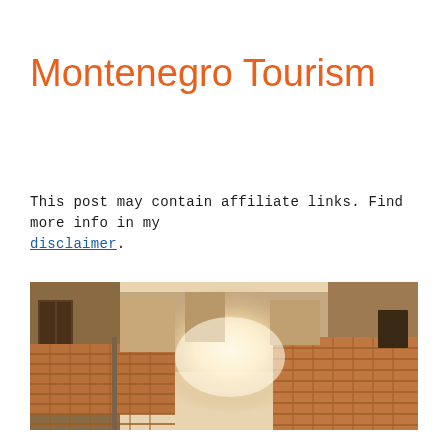Montenegro Tourism
This post may contain affiliate links. Find more info in my disclaimer.
[Figure (photo): Aerial view of old town rooftops in Montenegro, terracotta tiled roofs with sunlight illuminating a central courtyard, warm orange and brown tones]